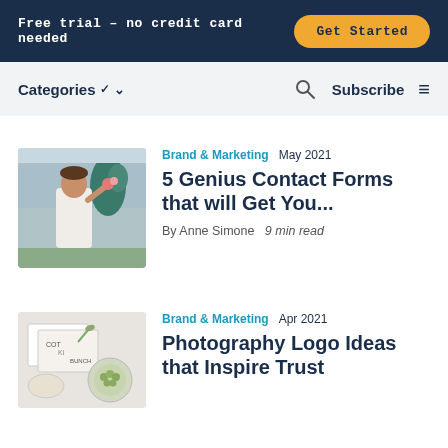Free trial – no credit card needed  |  Get Started
Categories ▾   🔍   Subscribe  ≡
[Figure (photo): Woman in wedding dress smiling and dancing outdoors, with other people in background]
Brand & Marketing  May 2021
5 Genius Contact Forms that will Get You...
By Anne Simone  9 min read
[Figure (photo): Top-down view of branding materials including a card reading 'Cot Ki Bunch' and small dishes with items]
Brand & Marketing  Apr 2021
Photography Logo Ideas that Inspire Trust